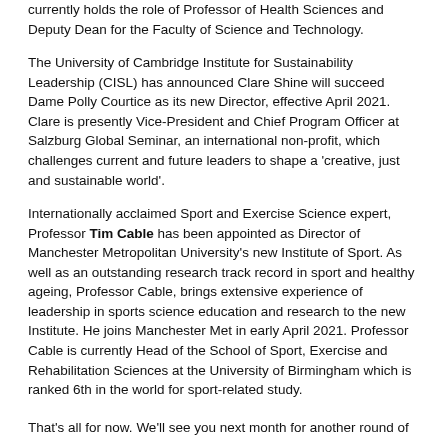currently holds the role of Professor of Health Sciences and Deputy Dean for the Faculty of Science and Technology.
The University of Cambridge Institute for Sustainability Leadership (CISL) has announced Clare Shine will succeed Dame Polly Courtice as its new Director, effective April 2021. Clare is presently Vice-President and Chief Program Officer at Salzburg Global Seminar, an international non-profit, which challenges current and future leaders to shape a 'creative, just and sustainable world'.
Internationally acclaimed Sport and Exercise Science expert, Professor Tim Cable has been appointed as Director of Manchester Metropolitan University's new Institute of Sport. As well as an outstanding research track record in sport and healthy ageing, Professor Cable, brings extensive experience of leadership in sports science education and research to the new Institute. He joins Manchester Met in early April 2021. Professor Cable is currently Head of the School of Sport, Exercise and Rehabilitation Sciences at the University of Birmingham which is ranked 6th in the world for sport-related study.
That's all for now. We'll see you next month for another round of